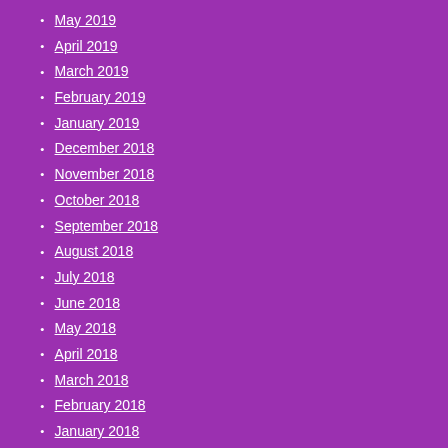May 2019
April 2019
March 2019
February 2019
January 2019
December 2018
November 2018
October 2018
September 2018
August 2018
July 2018
June 2018
May 2018
April 2018
March 2018
February 2018
January 2018
December 2016
October 2016
September 2016
August 2016
July 2016
June 2016